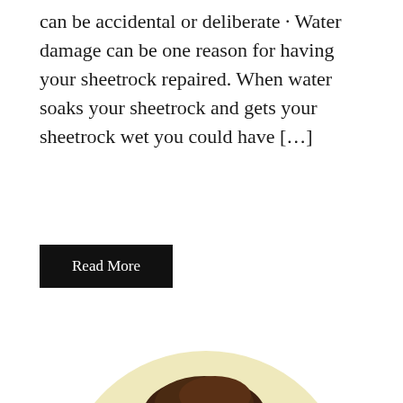can be accidental or deliberate · Water damage can be one reason for having your sheetrock repaired. When water soaks your sheetrock and gets your sheetrock wet you could have […]
Read More
[Figure (illustration): Cartoon illustration of a handyman/repairman in a red shirt holding a yellow power drill in one hand and a paint roller in the other, with a circular background halo. Small motion lines near the drill.]